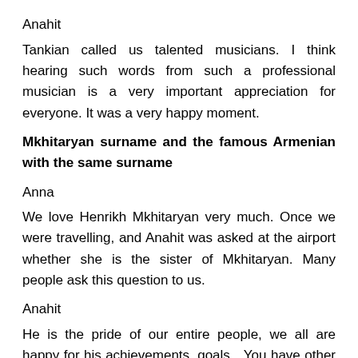Anahit
Tankian called us talented musicians. I think hearing such words from such a professional musician is a very important appreciation for everyone. It was a very happy moment.
Mkhitaryan surname and the famous Armenian with the same surname
Anna
We love Henrikh Mkhitaryan very much. Once we were travelling, and Anahit was asked at the airport whether she is the sister of Mkhitaryan. Many people ask this question to us.
Anahit
He is the pride of our entire people, we all are happy for his achievements, goals…You have other feelings when you have the same surname.